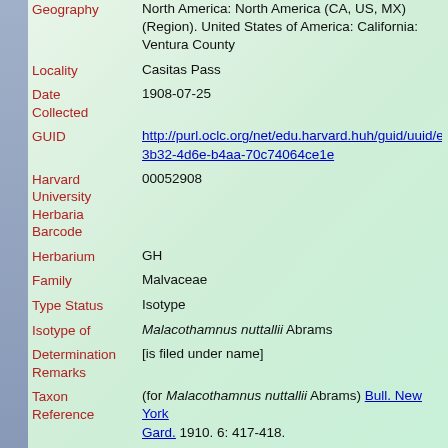Geography: North America: North America (CA, US, MX) (Region). United States of America: California: Ventura County
Locality: Casitas Pass
Date Collected: 1908-07-25
GUID: http://purl.oclc.org/net/edu.harvard.huh/guid/uuid/e52...3b32-4d6e-b4aa-70c74064ce1e
Harvard University Herbaria Barcode: 00052908
Herbarium: GH
Family: Malvaceae
Type Status: Isotype
Isotype of: Malacothamnus nuttallii Abrams
Determination Remarks: [is filed under name]
Taxon Reference: (for Malacothamnus nuttallii Abrams) Bull. New York Gard. 1910. 6: 417-418.
Sex: not determined
Phenology: Flower
Preparation Type: Sheet